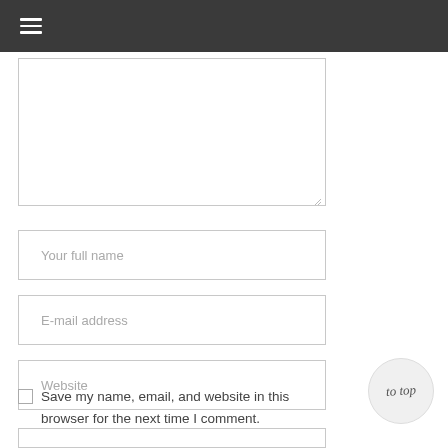[Figure (screenshot): Top navigation bar with dark background and hamburger menu icon]
[Figure (screenshot): Comment textarea input box (empty, resizable)]
Your full name
E-mail address
Website
Save my name, email, and website in this browser for the next time I comment.
[Figure (illustration): Circular 'to top' button with script text]